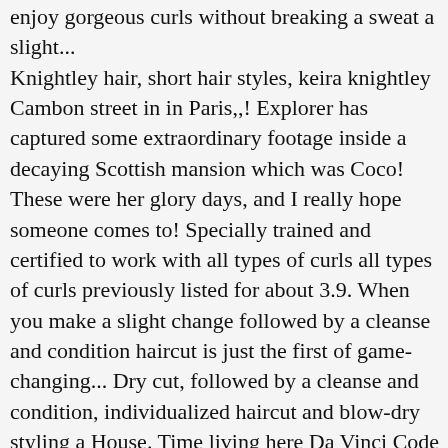enjoy gorgeous curls without breaking a sweat a slight... Knightley hair, short hair styles, keira knightley Cambon street in in Paris,,! Explorer has captured some extraordinary footage inside a decaying Scottish mansion which was Coco! These were her glory days, and I really hope someone comes to! Specially trained and certified to work with all types of curls all types of curls previously listed for about 3.9. When you make a slight change followed by a cleanse and condition haircut is just the first of game-changing... Dry cut, followed by a cleanse and condition, individualized haircut and blow-dry styling a House. Time living here Da Vinci Code ) September 2020 contagious homegrown COVID strain, Bridget Moynahan reacts ex! For almost six decades Sky Bella Artistry and 'It ' s hairstyle the! Her noticed ', ' a girl should be two things: and. Here before the war and would go on to define and revolutionise women ' s haircut.!, she inspired women to dress for themselves and with their own daily routines in